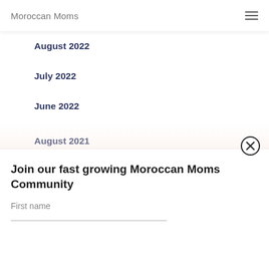Moroccan Moms
August 2022
July 2022
June 2022
May 2022
September 2021
August 2021
Join our fast growing Moroccan Moms Community
First name